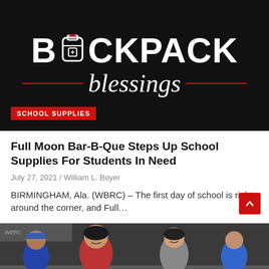[Figure (photo): Black background banner with large white bold text 'BACKPACK' with a backpack icon in the 'O', script/cursive white text 'blessings' below, red horizontal lines flanking the blessings text, and a red 'SCHOOL SUPPLIES' badge in the lower left]
Full Moon Bar-B-Que Steps Up School Supplies For Students In Need
July 27, 2021 / William L. Boyer
BIRMINGHAM, Ala. (WBRC) – The first day of school is right around the corner, and Full…
[Figure (photo): Photo of a group of people, including a girl in red shirt smiling, inside a community event or school supplies giveaway venue]